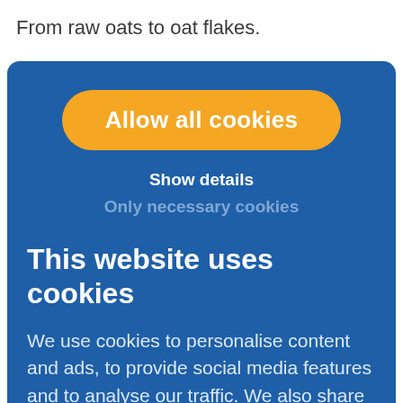From raw oats to oat flakes.
[Figure (screenshot): Cookie consent banner with blue background containing an orange 'Allow all cookies' button, 'Show details' link, 'Only necessary cookies' link, heading 'This website uses cookies', and body text about cookie usage.]
Allow all cookies
Show details
Only necessary cookies
This website uses cookies
We use cookies to personalise content and ads, to provide social media features and to analyse our traffic. We also share information about your use of our site with our social media, advertising and analytics